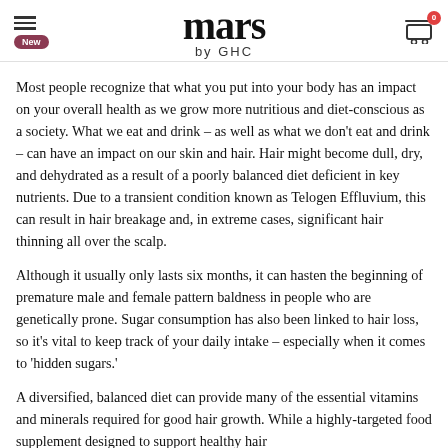mars by GHC
Most people recognize that what you put into your body has an impact on your overall health as we grow more nutritious and diet-conscious as a society. What we eat and drink – as well as what we don't eat and drink – can have an impact on our skin and hair. Hair might become dull, dry, and dehydrated as a result of a poorly balanced diet deficient in key nutrients. Due to a transient condition known as Telogen Effluvium, this can result in hair breakage and, in extreme cases, significant hair thinning all over the scalp.
Although it usually only lasts six months, it can hasten the beginning of premature male and female pattern baldness in people who are genetically prone. Sugar consumption has also been linked to hair loss, so it's vital to keep track of your daily intake – especially when it comes to 'hidden sugars.'
A diversified, balanced diet can provide many of the essential vitamins and minerals required for good hair growth. While a highly-targeted food supplement designed to support healthy hair